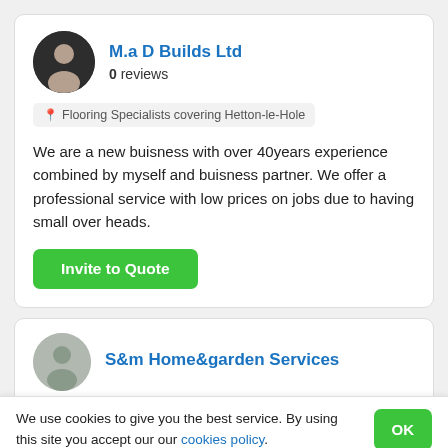M.a D Builds Ltd
0 reviews
Flooring Specialists covering Hetton-le-Hole
We are a new buisness with over 40years experience combined by myself and buisness partner. We offer a professional service with low prices on jobs due to having small over heads.
Invite to Quote
S&m Home&garden Services
We use cookies to give you the best service. By using this site you accept our our cookies policy.